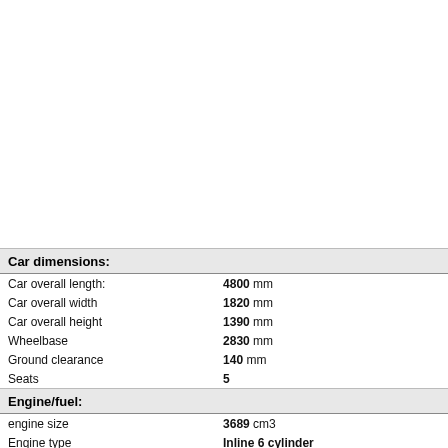| Property | Value |
| --- | --- |
| Car dimensions: |  |
| Car overall length: | 4800 mm |
| Car overall width | 1820 mm |
| Car overall height | 1390 mm |
| Wheelbase | 2830 mm |
| Ground clearance | 140 mm |
| Seats | 5 |
| Engine/fuel: |  |
| engine size | 3689 cm3 |
| Engine type | Inline 6 cylinder |
| Engine location | Front longitudinal |